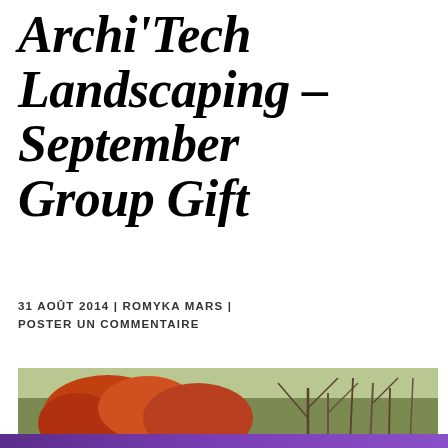Archi'Tech Landscaping – September Group Gift
31 AOÛT 2014 | ROMYKA MARS | POSTER UN COMMENTAIRE
[Figure (photo): Landscape gardening scene with bare branches and red-orange foliage plants in autumn]
Confidentialité & Cookies : Ce site utilise des cookies. En continuant à utiliser ce site, vous acceptez leur utilisation.
Pour en savoir davantage, y compris comment contrôler les cookies, voir :
Politique relative aux cookies
Fermer et accepter